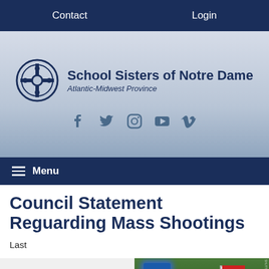Contact   Login
[Figure (logo): School Sisters of Notre Dame Atlantic-Midwest Province logo with circular Celtic cross emblem and organization name, with social media icons (Facebook, Twitter, Instagram, YouTube, Vimeo)]
Menu
Council Statement Reguarding Mass Shootings
Last
[Figure (photo): Photograph of police car with blue flashing lights and road signs in background with green trees]